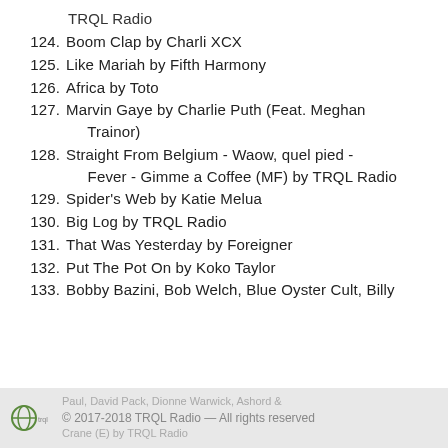TRQL Radio
124. Boom Clap by Charli XCX
125. Like Mariah by Fifth Harmony
126. Africa by Toto
127. Marvin Gaye by Charlie Puth (Feat. Meghan Trainor)
128. Straight From Belgium - Waow, quel pied - Fever - Gimme a Coffee (MF) by TRQL Radio
129. Spider's Web by Katie Melua
130. Big Log by TRQL Radio
131. That Was Yesterday by Foreigner
132. Put The Pot On by Koko Taylor
133. Bobby Bazini, Bob Welch, Blue Oyster Cult, Billy Paul, David Pack, Dionne Warwick, Ashord & Crane (E) by TRQL Radio
© 2017-2018 TRQL Radio — All rights reserved